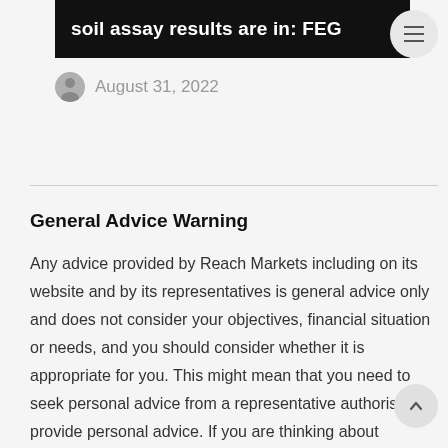soil assay results are in: FEG
August 31, 2022
General Advice Warning
Any advice provided by Reach Markets including on its website and by its representatives is general advice only and does not consider your objectives, financial situation or needs, and you should consider whether it is appropriate for you. This might mean that you need to seek personal advice from a representative authorised to provide personal advice. If you are thinking about